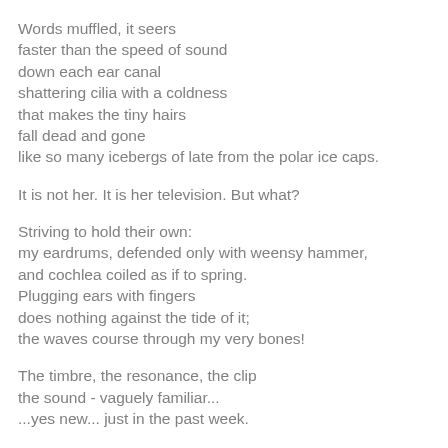Words muffled, it seers
faster than the speed of sound
down each ear canal
shattering cilia with a coldness
that makes the tiny hairs
fall dead and gone
like so many icebergs of late from the polar ice caps.

It is not her. It is her television. But what?

Striving to hold their own:
my eardrums, defended only with weensy hammer,
and cochlea coiled as if to spring.
Plugging ears with fingers
does nothing against the tide of it;
the waves course through my very bones!

The timbre, the resonance, the clip
the sound - vaguely familiar...
...yes new... just in the past week.

This is not the kind sweet girl